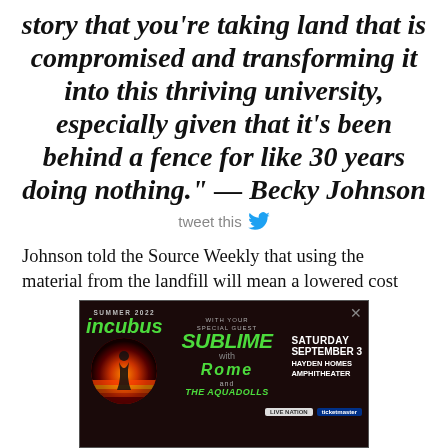story that you're taking land that is compromised and transforming it into this thriving university, especially given that it's been behind a fence for like 30 years doing nothing." — Becky Johnson
tweet this
Johnson told the Source Weekly that using the material from the landfill will mean a lowered cost
[Figure (other): Advertisement for Incubus with Sublime with Rome and The Aquadolls, Saturday September 3, Hayden Homes Amphitheater. Features colorful concert logos on a dark background.]